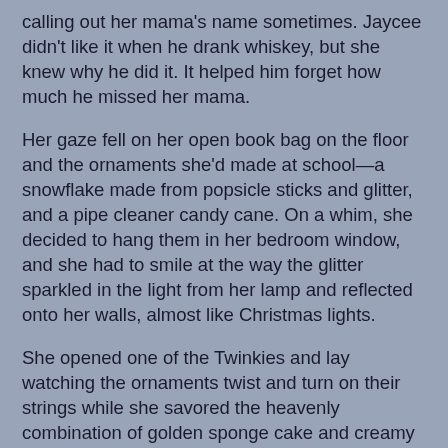calling out her mama's name sometimes. Jaycee didn't like it when he drank whiskey, but she knew why he did it. It helped him forget how much he missed her mama.
Her gaze fell on her open book bag on the floor and the ornaments she'd made at school—a snowflake made from popsicle sticks and glitter, and a pipe cleaner candy cane. On a whim, she decided to hang them in her bedroom window, and she had to smile at the way the glitter sparkled in the light from her lamp and reflected onto her walls, almost like Christmas lights.
She opened one of the Twinkies and lay watching the ornaments twist and turn on their strings while she savored the heavenly combination of golden sponge cake and creamy filling. She made up another story about a kidnapped princess, but this princess knew she was a captive and was always trying to escape. The princess had made ornaments from things she'd stolen from her captors, then she'd hung them in the window of her locked room, hoping the light from the North Star would reflect off them and lead her rescuers to where she was imprisoned.